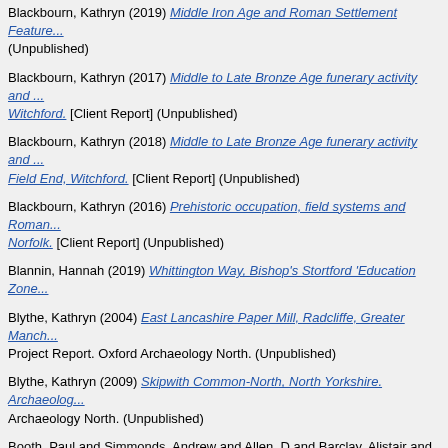Blackbourn, Kathryn (2019) Middle Iron Age and Roman Settlement Features (Unpublished)
Blackbourn, Kathryn (2017) Middle to Late Bronze Age funerary activity and Witchford. [Client Report] (Unpublished)
Blackbourn, Kathryn (2018) Middle to Late Bronze Age funerary activity and Field End, Witchford. [Client Report] (Unpublished)
Blackbourn, Kathryn (2016) Prehistoric occupation, field systems and Roman Norfolk. [Client Report] (Unpublished)
Blannin, Hannah (2019) Whittington Way, Bishop's Stortford 'Education Zone
Blythe, Kathryn (2004) East Lancashire Paper Mill, Radcliffe, Greater Manchester Project Report. Oxford Archaeology North. (Unpublished)
Blythe, Kathryn (2009) Skipwith Common-North, North Yorkshire. Archaeology North. (Unpublished)
Booth, Paul and Simmonds, Andrew and Allen, D and Barclay, Alistair and Denise and Francis, R and Kitch, J and Lamdin-Whymark, Hugo and Robinson Witkin, Annsofie (2008) Appleford's Earliest Farmers Archaeological work at Oxford Archaeology.
Booth, Paul Allotment Site, Wyre Grove Hayes. [Client Report] (Unpublished)
Booth, Paul and Howard-Davis, Chris and Biddulph, Edward and Lamdin-Wh Emma and Hemingway, Amy Tiffany (2004) PREHISTORIC AND ROMANO- SQUARE, MAIDSTONE Oxford Archaeology Occasional Paper Number 11. Oxford.